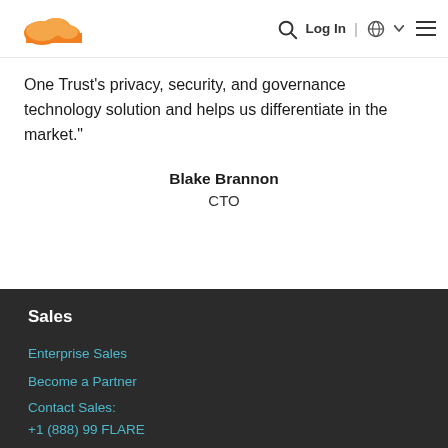Cloudflare logo | Search | Log In | Globe | Menu
One Trust's privacy, security, and governance technology solution and helps us differentiate in the market.”
Blake Brannon
CTO
Sales
Enterprise Sales
Become a Partner
Contact Sales:
+1 (888) 99 FLARE